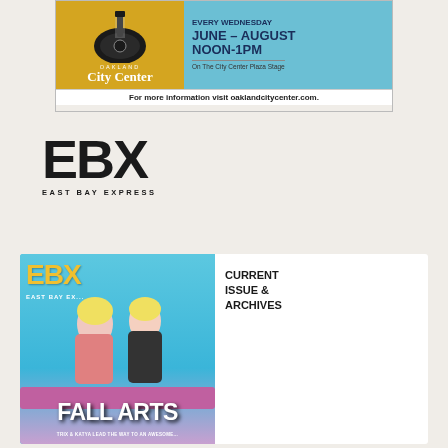[Figure (infographic): Oakland City Center advertisement banner: guitar graphic on golden/yellow background on left, text 'EVERY WEDNESDAY JUNE - AUGUST NOON-1PM On The City Center Plaza Stage' on blue background on right. Bottom bar: 'For more information visit oaklandcitycenter.com.']
[Figure (logo): EBX East Bay Express logo in large bold black letters with 'EAST BAY EXPRESS' subtitle below]
[Figure (photo): Magazine cover thumbnail of East Bay Express showing two drag queens in a pink convertible car with 'FALL ARTS' text at bottom]
CURRENT ISSUE & ARCHIVES